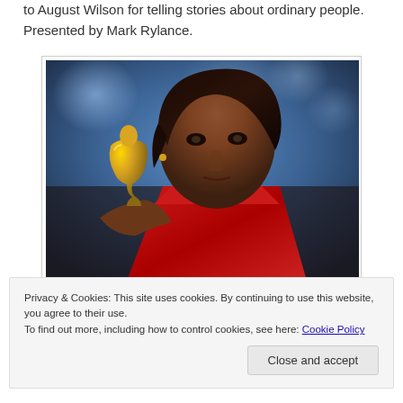to August Wilson for telling stories about ordinary people. Presented by Mark Rylance.
[Figure (photo): A woman in a red halter dress holding a golden award trophy, photographed against a blue bokeh background. She has short dark hair and is looking upward.]
Privacy & Cookies: This site uses cookies. By continuing to use this website, you agree to their use. To find out more, including how to control cookies, see here: Cookie Policy
Close and accept